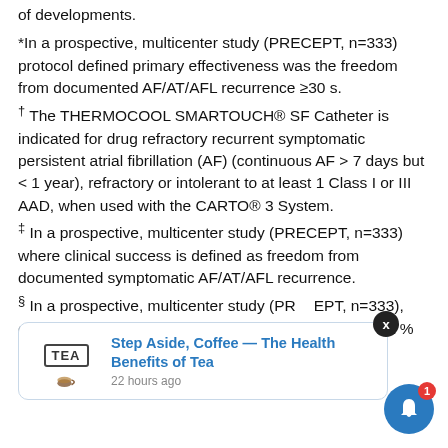of developments.
*In a prospective, multicenter study (PRECEPT, n=333) protocol defined primary effectiveness was the freedom from documented AF/AT/AFL recurrence ≥30 s.
† The THERMOCOOL SMARTOUCH® SF Catheter is indicated for drug refractory recurrent symptomatic persistent atrial fibrillation (AF) (continuous AF > 7 days but < 1 year), refractory or intolerant to at least 1 Class I or III AAD, when used with the CARTO® 3 System.
‡ In a prospective, multicenter study (PRECEPT, n=333) where clinical success is defined as freedom from documented symptomatic AF/AT/AFL recurrence.
§ In a prospective, multicenter study (PRECEPT, n=333), [composite and] [including Clinically] [AAD use] reduced from 97% to 25%, incidence of cardioversion